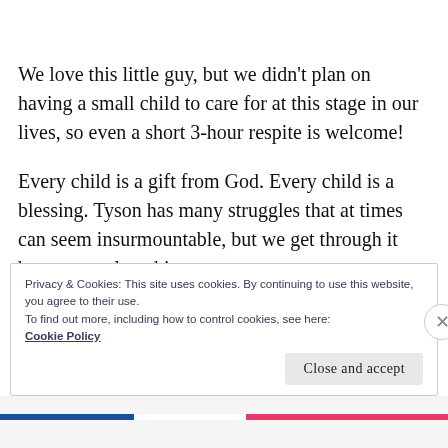We love this little guy, but we didn't plan on having a small child to care for at this stage in our lives, so even a short 3-hour respite is welcome!
Every child is a gift from God. Every child is a blessing. Tyson has many struggles that at times can seem insurmountable, but we get through it because we love him.
Privacy & Cookies: This site uses cookies. By continuing to use this website, you agree to their use. To find out more, including how to control cookies, see here: Cookie Policy